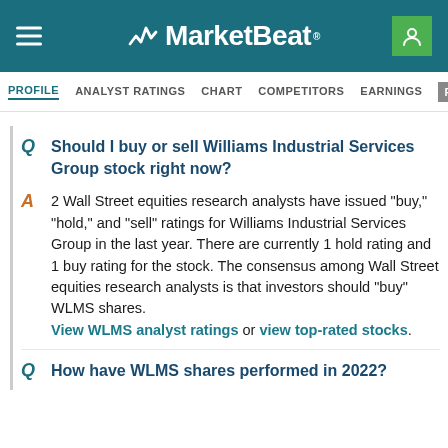MarketBeat
PROFILE  ANALYST RATINGS  CHART  COMPETITORS  EARNINGS  FINANCIAL
Q  Should I buy or sell Williams Industrial Services Group stock right now?
A  2 Wall Street equities research analysts have issued "buy," "hold," and "sell" ratings for Williams Industrial Services Group in the last year. There are currently 1 hold rating and 1 buy rating for the stock. The consensus among Wall Street equities research analysts is that investors should "buy" WLMS shares. View WLMS analyst ratings or view top-rated stocks.
Q  How have WLMS shares performed in 2022?